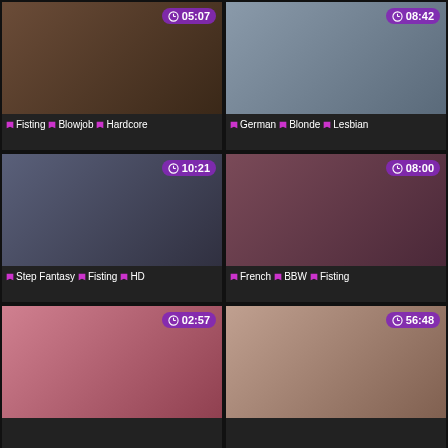[Figure (screenshot): Video thumbnail grid showing 6 adult video thumbnails with duration badges and tags]
Fisting Blowjob Hardcore
German Blonde Lesbian
Step Fantasy Fisting HD
French BBW Fisting
02:57
56:48